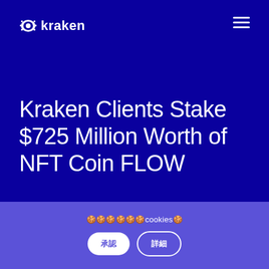[Figure (logo): Kraken cryptocurrency exchange logo — white octopus-like icon followed by 'kraken' wordmark in white on dark blue background]
Kraken Clients Stake $725 Million Worth of NFT Coin FLOW
🍪🍪🍪🍪🍪🍪cookies🍪
承認 / 同意する button and 設定 / 詳細 button